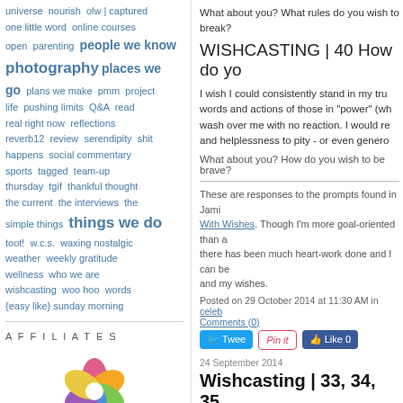universe nourish olw | captured one little word online courses open parenting people we know photography places we go plans we make pmm project life pushing limits Q&A read real right now reflections reverb12 review serendipity shit happens social commentary sports tagged team-up thursday tgif thankful thought the current the interviews the simple things things we do toot! w.c.s. waxing nostalgic weather weekly gratitude wellness who we are wishcasting woo hoo words {easy like} sunday morning
AFFILIATES
[Figure (logo): Clickin Moms logo with colorful flower icon and text 'clickin moms']
What about you? What rules do you wish to break?
WISHCASTING | 40 How do yo
I wish I could consistently stand in my tru words and actions of those in "power" (wh wash over me with no reaction. I would re and helplessness to pity - or even genero
What about you? How do you wish to be brave?
These are responses to the prompts found in Jami With Wishes. Though I'm more goal-oriented than a there has been much heart-work done and I can be and my wishes.
Posted on 29 October 2014 at 11:30 AM in celeb Comments (0)
Tweet   Pin it   Like 0
24 September 2014
Wishcasting | 33, 34, 35
[Figure (photo): Dark olive/brown background with large white bold text reading 'WISHC']